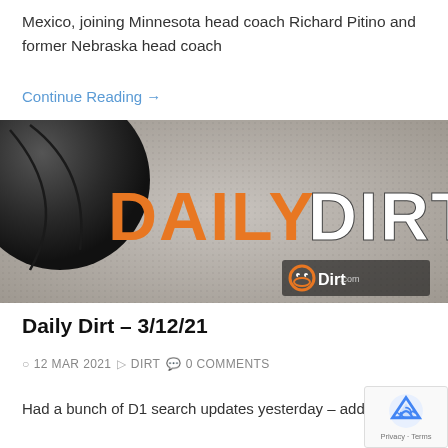Mexico, joining Minnesota head coach Richard Pitino and former Nebraska head coach
Continue Reading →
[Figure (photo): Daily Dirt banner image showing a basketball and the text 'DAILY DIRT' in large orange and white letters, with HoopDirt.com logo in the bottom right corner against a leather-textured background.]
Daily Dirt – 3/12/21
12 MAR 2021   DIRT   0 COMMENTS
Had a bunch of D1 search updates yesterday – adding a